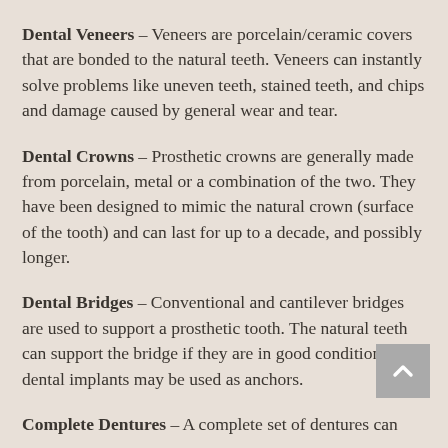Dental Veneers – Veneers are porcelain/ceramic covers that are bonded to the natural teeth. Veneers can instantly solve problems like uneven teeth, stained teeth, and chips and damage caused by general wear and tear.
Dental Crowns – Prosthetic crowns are generally made from porcelain, metal or a combination of the two. They have been designed to mimic the natural crown (surface of the tooth) and can last for up to a decade, and possibly longer.
Dental Bridges – Conventional and cantilever bridges are used to support a prosthetic tooth. The natural teeth can support the bridge if they are in good condition, or dental implants may be used as anchors.
Complete Dentures – A complete set of dentures can